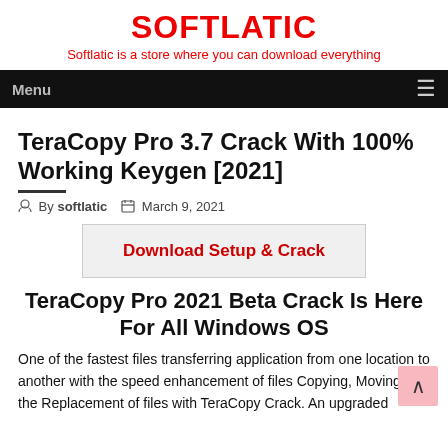SOFTLATIC
Softlatic is a store where you can download everything
Menu
TeraCopy Pro 3.7 Crack With 100% Working Keygen [2021]
By softlatic   March 9, 2021
[Figure (other): Download Setup & Crack button]
TeraCopy Pro 2021 Beta Crack Is Here For All Windows OS
One of the fastest files transferring application from one location to another with the speed enhancement of files Copying, Moving & the Replacement of files with TeraCopy Crack. An upgraded